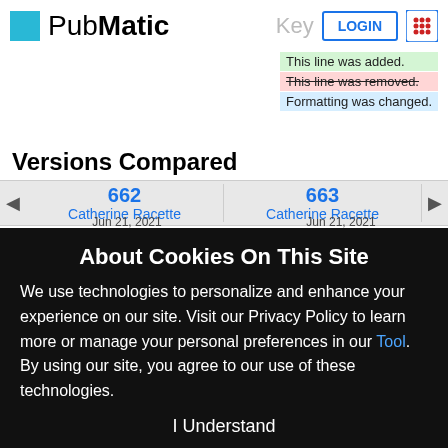[Figure (logo): PubMatic logo with cyan square and bold/regular text]
Key
This line was added.
This line was removed.
Formatting was changed.
Versions Compared
| 662 | 663 |
| --- | --- |
| Catherine Racette | Catherine Racette |
| Jun 21, 2021 | Jun 21, 2021 |
About Cookies On This Site
We use technologies to personalize and enhance your experience on our site. Visit our Privacy Policy to learn more or manage your personal preferences in our Tool. By using our site, you agree to our use of these technologies.
I Understand